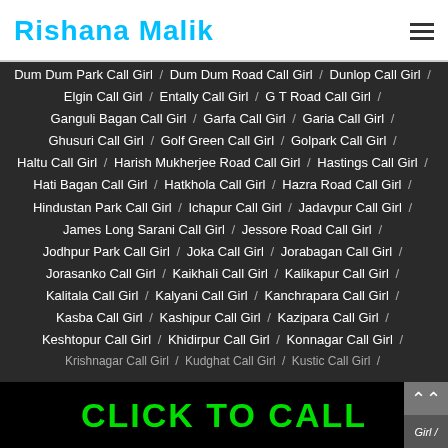Rishana Malik
Dum Dum Park Call Girl / Dum Dum Road Call Girl / Dunlop Call Girl /
Elgin Call Girl / Entally Call Girl / G T Road Call Girl /
Ganguli Bagan Call Girl / Garfa Call Girl / Garia Call Girl /
Ghusuri Call Girl / Golf Green Call Girl / Golpark Call Girl /
Haltu Call Girl / Harish Mukherjee Road Call Girl / Hastings Call Girl /
Hati Bagan Call Girl / Hatkhola Call Girl / Hazra Road Call Girl /
Hindustan Park Call Girl / Ichapur Call Girl / Jadavpur Call Girl /
James Long Sarani Call Girl / Jessore Road Call Girl /
Jodhpur Park Call Girl / Joka Call Girl / Jorabagan Call Girl /
Jorasanko Call Girl / Kaikhali Call Girl / Kalikapur Call Girl /
Kalitala Call Girl / Kalyani Call Girl / Kanchrapara Call Girl /
Kasba Call Girl / Kashipur Call Girl / Kazipara Call Girl /
Keshtopur Call Girl / Khidirpur Call Girl / Konnagar Call Girl /
CLICK TO CALL